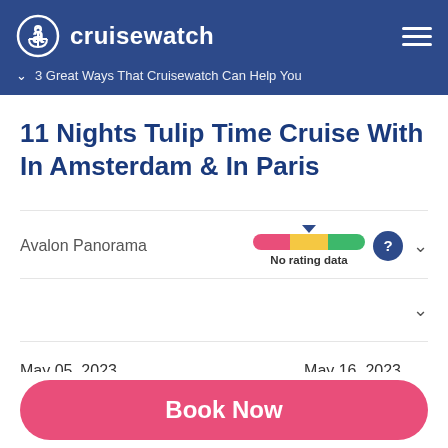cruisewatch
3 Great Ways That Cruisewatch Can Help You
11 Nights Tulip Time Cruise With In Amsterdam & In Paris
Avalon Panorama
[Figure (infographic): A horizontal rating bar in three colors (red, yellow, green) with a downward pointer triangle above it and 'No rating data' label below. A dark blue circle question mark button is to the right.]
No rating data
May 05, 2023    May 16, 2023
Book Now